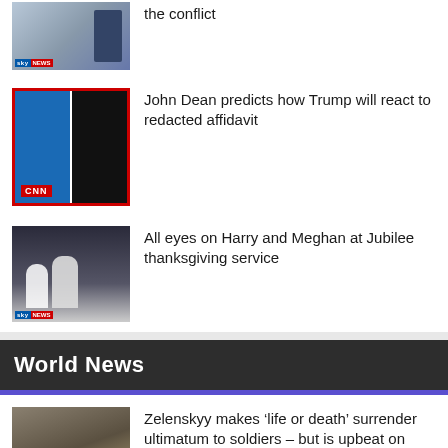[Figure (screenshot): Sky News thumbnail showing a map and a presenter]
Ukraine War: Key events that have shaped the conflict
[Figure (screenshot): CNN thumbnail showing two men side by side]
John Dean predicts how Trump will react to redacted affidavit
[Figure (screenshot): Sky News thumbnail showing Harry and Meghan]
All eyes on Harry and Meghan at Jubilee thanksgiving service
World News
[Figure (photo): Photo of soldiers or war scene]
Zelenskyy makes ‘life or death’ surrender ultimatum to soldiers – but is upbeat on peace talks progress